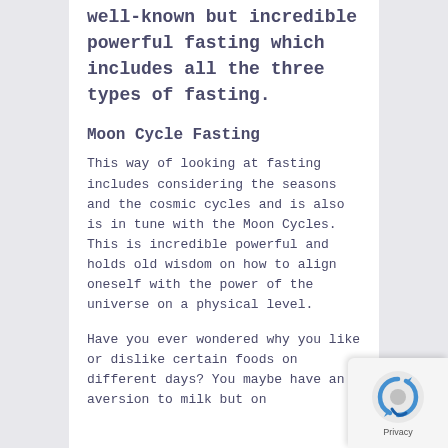well-known but incredible powerful fasting which includes all the three types of fasting.
Moon Cycle Fasting
This way of looking at fasting includes considering the seasons and the cosmic cycles and is also is in tune with the Moon Cycles. This is incredible powerful and holds old wisdom on how to align oneself with the power of the universe on a physical level.
Have you ever wondered why you like or dislike certain foods on different days? You maybe have an aversion to milk but on
[Figure (other): reCAPTCHA privacy widget with spinning arrow icon and Privacy label in bottom-right corner]